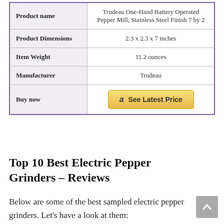|  |  |
| --- | --- |
| Product name | Trudeau One-Hand Battery Operated Pepper Mill, Stainless Steel Finish 7 by 2 |
| Product Dimensions | 2.3 x 2.3 x 7 inches |
| Item Weight | 11.2 ounces |
| Manufacturer | Trudeau |
| Buy now | See Latest Price |
Top 10 Best Electric Pepper Grinders – Reviews
Below are some of the best sampled electric pepper grinders. Let's have a look at them: